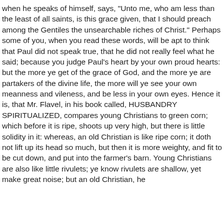when he speaks of himself, says, "Unto me, who am less than the least of all saints, is this grace given, that I should preach among the Gentiles the unsearchable riches of Christ." Perhaps some of you, when you read these words, will be apt to think that Paul did not speak true, that he did not really feel what he said; because you judge Paul's heart by your own proud hearts: but the more ye get of the grace of God, and the more ye are partakers of the divine life, the more will ye see your own meanness and vileness, and be less in your own eyes. Hence it is, that Mr. Flavel, in his book called, HUSBANDRY SPIRITUALIZED, compares young Christians to green corn; which before it is ripe, shoots up very high, but there is little solidity in it: whereas, an old Christian is like ripe corn; it doth not lift up its head so much, but then it is more weighty, and fit to be cut down, and put into the farmer's barn. Young Christians are also like little rivulets; ye know rivulets are shallow, yet make great noise; but an old Christian, he